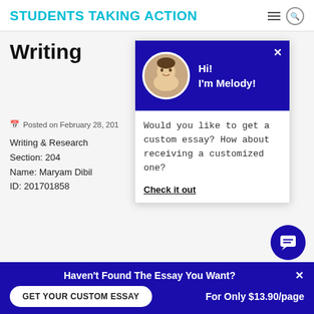STUDENTS TAKING ACTION
Writing
Posted on February 28, 201
Writing & Research
Section: 204
Name: Maryam Dibil
ID: 201701858
[Figure (screenshot): Chat popup with avatar of Melody, greeting Hi! I'm Melody!, message: Would you like to get a custom essay? How about receiving a customized one? Check it out link]
Haven't Found The Essay You Want?
GET YOUR CUSTOM ESSAY
For Only $13.90/page